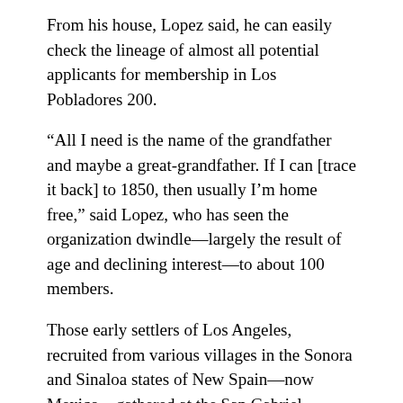From his house, Lopez said, he can easily check the lineage of almost all potential applicants for membership in Los Pobladores 200.
“All I need is the name of the grandfather and maybe a great-grandfather. If I can [trace it back] to 1850, then usually I’m home free,” said Lopez, who has seen the organization dwindle—largely the result of age and declining interest—to about 100 members.
Those early settlers of Los Angeles, recruited from various villages in the Sonora and Sinaloa states of New Spain—now Mexico—gathered at the San Gabriel Mission before walking the last few miles to the settlement where a cornerstone was laid Sept. 4.
{snip}
Settlers who came here in 1781 to Guadalajara July...